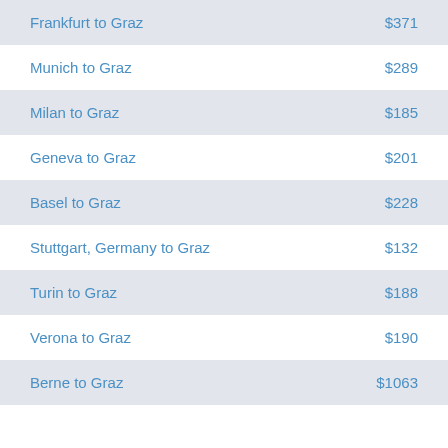Frankfurt to Graz  $371
Munich to Graz  $289
Milan to Graz  $185
Geneva to Graz  $201
Basel to Graz  $228
Stuttgart, Germany to Graz  $132
Turin to Graz  $188
Verona to Graz  $190
Berne to Graz  $1063